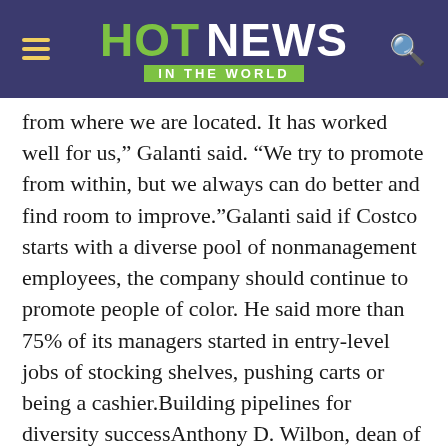HOT NEWS IN THE WORLD
from where we are located. It has worked well for us,” Galanti said. “We try to promote from within, but we always can do better and find room to improve.”Galanti said if Costco starts with a diverse pool of nonmanagement employees, the company should continue to promote people of color. He said more than 75% of its managers started in entry-level jobs of stocking shelves, pushing carts or being a cashier.Building pipelines for diversity successAnthony D. Wilbon, dean of the Howard School of Business, and Charlotte Newman, senior manager at Amazon, talk growth strategies for diversity and equityJarrad Henderson, USA TODAYWithin eight years of employment, those entry-level workers can earn $61,000 annually, close to a typical income of a